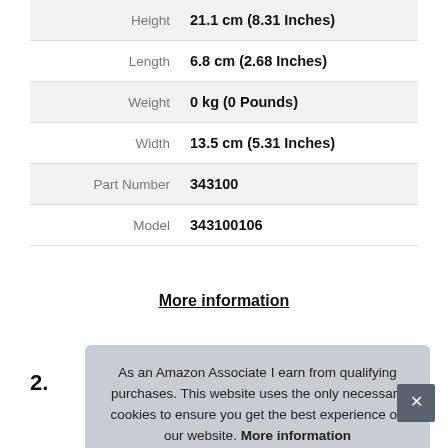| Attribute | Value |
| --- | --- |
| Height | 21.1 cm (8.31 Inches) |
| Length | 6.8 cm (2.68 Inches) |
| Weight | 0 kg (0 Pounds) |
| Width | 13.5 cm (5.31 Inches) |
| Part Number | 343100 |
| Model | 343100106 |
More information
2.
As an Amazon Associate I earn from qualifying purchases. This website uses the only necessary cookies to ensure you get the best experience on our website. More information